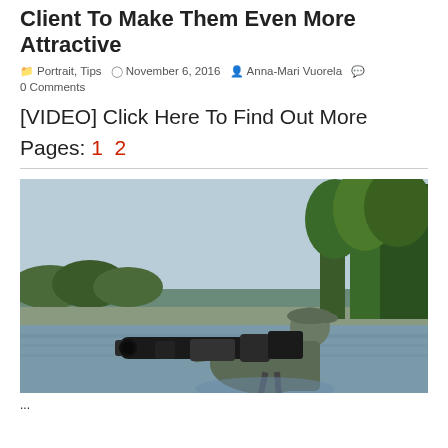Client To Make Them Even More Attractive
Portrait, Tips  November 6, 2016  Anna-Mari Vuorela  0 Comments
[VIDEO] Click Here To Find Out More
Pages: 1 2
[Figure (photo): Photographer standing in water with a very large telephoto lens on a camera, shooting towards a lake with trees in the background.]
...